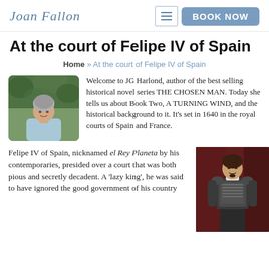Joan Fallon | BOOK NOW
At the court of Felipe IV of Spain
Home » At the court of Felipe IV of Spain
[Figure (photo): Author photo: a woman with short grey hair wearing a light blue shirt, posed outdoors with foliage in background]
Welcome to JG Harlond, author of the best selling historical novel series THE CHOSEN MAN. Today she tells us about Book Two, A TURNING WIND, and the historical background to it. It's set in 1640 in the royal courts of Spain and France.
Felipe IV of Spain, nicknamed el Rey Planeta by his contemporaries, presided over a court that was both pious and secretly decadent. A 'lazy king', he was said to have ignored the good government of his country
[Figure (photo): Portrait painting of Felipe IV of Spain in full armour, standing pose against a dark red background, historical oil painting style]